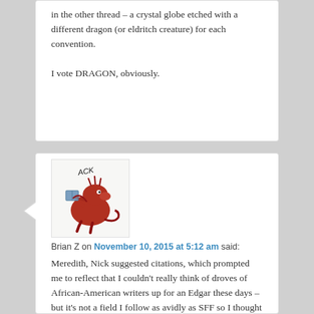in the other thread – a crystal globe etched with a different dragon (or eldritch creature) for each convention.

I vote DRAGON, obviously.
[Figure (illustration): Avatar image of a cartoon red dragon character saying 'ACK']
Brian Z on November 10, 2015 at 5:12 am said:
Meredith, Nick suggested citations, which prompted me to reflect that I couldn't really think of droves of African-American writers up for an Edgar these days – but it's not a field I follow as avidly as SFF so I thought I'd ask if there are more I'm unaware of.